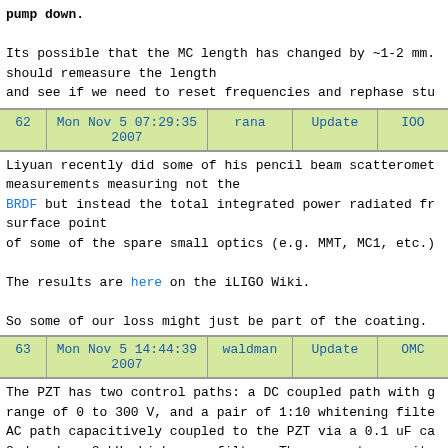pump down.

Its possible that the MC length has changed by ~1-2 mm. should remeasure the length
and see if we need to reset frequencies and rephase stu
| 62 | Mon Nov 5 07:29:35 2007 | rana | Update | IOO |
| --- | --- | --- | --- | --- |
Liyuan recently did some of his pencil beam scatteromete measurements measuring not the
BRDF but instead the total integrated power radiated fr surface point
of some of the spare small optics (e.g. MMT, MC1, etc.)

The results are here on the iLIGO Wiki.

So some of our loss might just be part of the coating.
| 63 | Mon Nov 5 14:44:39 2007 | waldman | Update | OMC |
| --- | --- | --- | --- | --- |
The PZT has two control paths: a DC coupled path with g range of 0 to 300 V, and a pair of 1:10 whitening filte AC path capacitively coupled to the PZT via a 0.1 uF ca 2nd order, 2 kHz high pass filter. There are two monito PZT, a DC monitor which sniffs the DC directly with a g and one which sniffs the dither input with a gain of 10

There are two plots included below. The first measures transfer function of the AC monitor / AC drive. It show